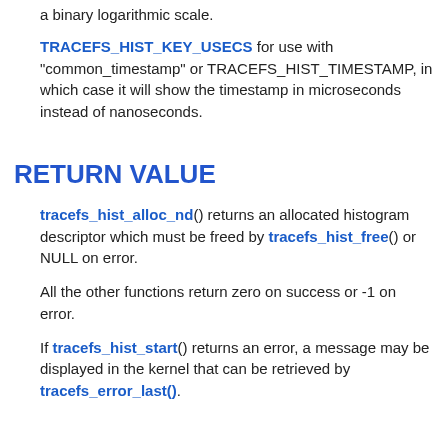a binary logarithmic scale.
TRACEFS_HIST_KEY_USECS for use with "common_timestamp" or TRACEFS_HIST_TIMESTAMP, in which case it will show the timestamp in microseconds instead of nanoseconds.
RETURN VALUE
tracefs_hist_alloc_nd() returns an allocated histogram descriptor which must be freed by tracefs_hist_free() or NULL on error.
All the other functions return zero on success or -1 on error.
If tracefs_hist_start() returns an error, a message may be displayed in the kernel that can be retrieved by tracefs_error_last().
EXAMPLE